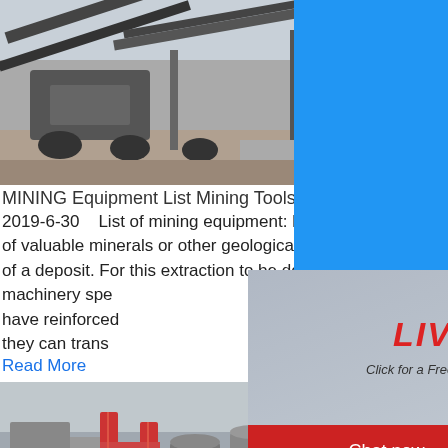[Figure (photo): Mining equipment/conveyor machinery at an industrial site, top image]
MINING Equipment List Mining Tools ... - Cranes and
2019-6-30   List of mining equipment: Mining is the extraction of valuable minerals or other geological materials from the land of a deposit. For this extraction to be done efficiently, we need machinery spe... have reinforced... they can trans...
Read More
[Figure (photo): Live chat popup overlay with workers in hard hats, LIVE CHAT label, Chat now and Chat later buttons]
[Figure (photo): Mining industrial plant/facility with red scaffolding, bottom image]
Mining Equipment and Supplies-Manufacturers W...
2021-10-19    4970 Teavs Valley Road K, S...
[Figure (screenshot): Right sidebar: blue background with hour online text, crusher machine image, Click me to chat>> button, Enquiry label, limingjlmofen brand name]